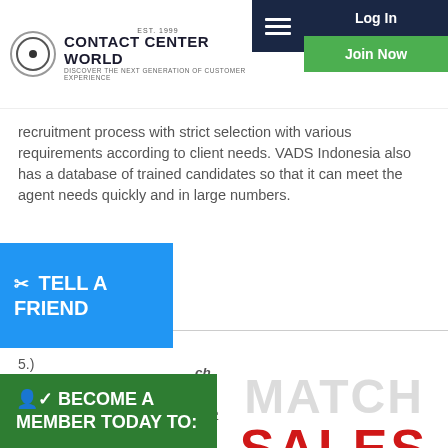Contact Center World — Log In | Join Now
recruitment process with strict selection with various requirements according to client needs. VADS Indonesia also has a database of trained candidates so that it can meet the agent needs quickly and in large numbers.
TELL A FRIEND
5.)
BECOME A MEMBER TODAY TO: Network Post Content Enter Awards + Much More
[Figure (logo): SALES MATCH watermark logo overlaid on content]